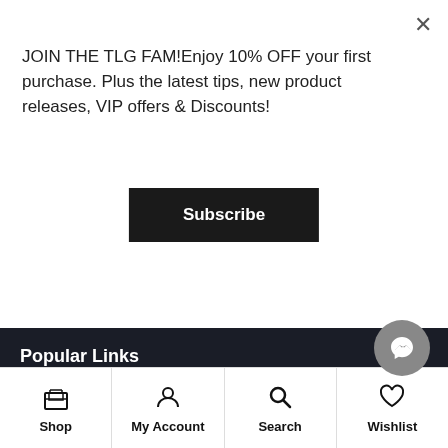JOIN THE TLG FAM!Enjoy 10% OFF your first purchase. Plus the latest tips, new product releases, VIP offers & Discounts!
Subscribe
Popular Links
New Arrivals
New Stacks
Items on Sale
Popular
My Account
Shop  My Account  Search  Wishlist